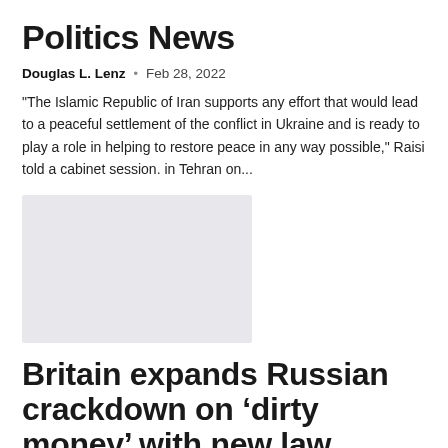Politics News
Douglas L. Lenz  •  Feb 28, 2022
"The Islamic Republic of Iran supports any effort that would lead to a peaceful settlement of the conflict in Ukraine and is ready to play a role in helping to restore peace in any way possible," Raisi told a cabinet session. in Tehran on...
[Figure (photo): Placeholder image (light gray rectangle)]
Britain expands Russian crackdown on ‘dirty money’ with new law